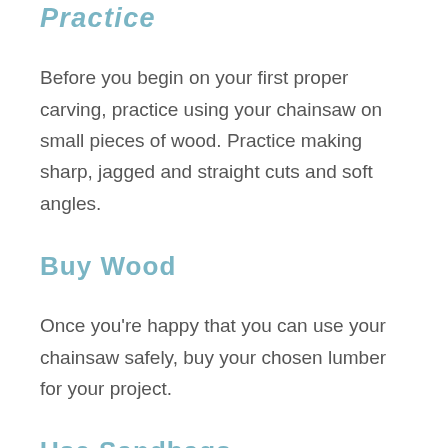Practice
Before you begin on your first proper carving, practice using your chainsaw on small pieces of wood. Practice making sharp, jagged and straight cuts and soft angles.
Buy Wood
Once you're happy that you can use your chainsaw safely, buy your chosen lumber for your project.
Use Sandbags